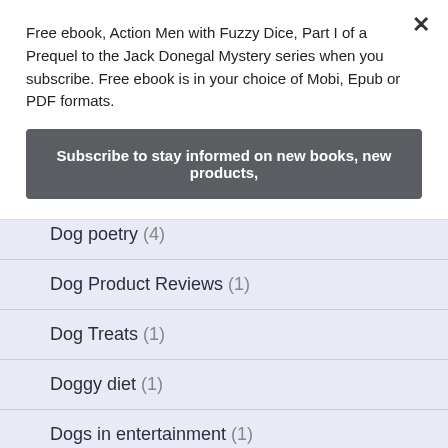Free ebook, Action Men with Fuzzy Dice, Part I of a Prequel to the Jack Donegal Mystery series when you subscribe. Free ebook is in your choice of Mobi, Epub or PDF formats.
Subscribe to stay informed on new books, new products,
Dog poetry (4)
Dog Product Reviews (1)
Dog Treats (1)
Doggy diet (1)
Dogs in entertainment (1)
English springer spaniels (1)